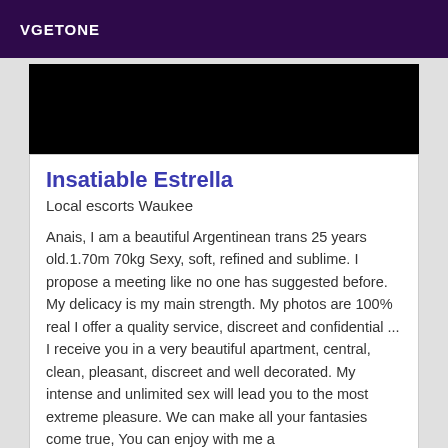VGETONE
[Figure (photo): Dark/black image strip at top of listing]
Insatiable Estrella
Local escorts Waukee
Anais, I am a beautiful Argentinean trans 25 years old.1.70m 70kg Sexy, soft, refined and sublime. I propose a meeting like no one has suggested before. My delicacy is my main strength. My photos are 100% real I offer a quality service, discreet and confidential ... I receive you in a very beautiful apartment, central, clean, pleasant, discreet and well decorated. My intense and unlimited sex will lead you to the most extreme pleasure. We can make all your fantasies come true, You can enjoy with me a
[Figure (photo): Partial photo visible at bottom of page]